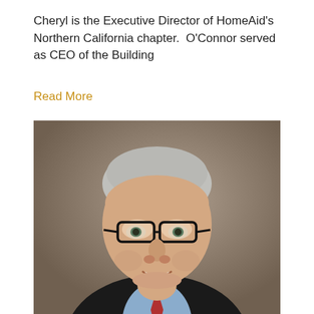Cheryl is the Executive Director of HomeAid's Northern California chapter.  O'Connor served as CEO of the Building
Read More
[Figure (photo): Professional headshot of an older man with short gray hair, wearing black-framed glasses, a dark suit jacket, light blue dress shirt, and red tie, smiling against a gray-brown studio background.]